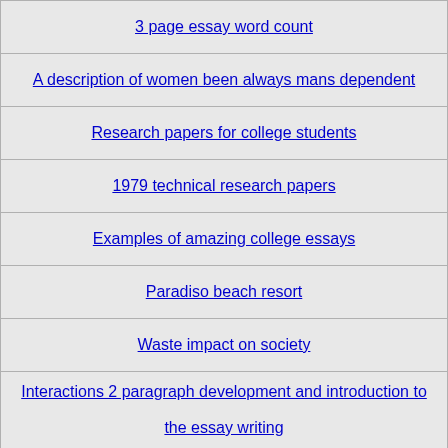3 page essay word count
A description of women been always mans dependent
Research papers for college students
1979 technical research papers
Examples of amazing college essays
Paradiso beach resort
Waste impact on society
Interactions 2 paragraph development and introduction to the essay writing
Fire engineering dissertation
All souls college essay